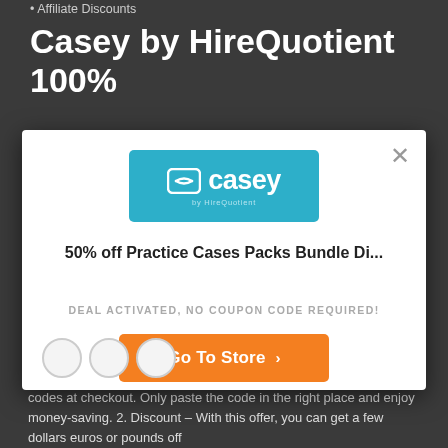• Affiliate Discounts
Casey by HireQuotient 100%
[Figure (screenshot): Modal popup dialog for Casey by HireQuotient showing logo, deal title '50% off Practice Cases Packs Bundle Di...', 'DEAL ACTIVATED, NO COUPON CODE REQUIRED!' text, orange 'Go To Store >' button, and close X button.]
codes at checkout. Only paste the code in the right place and enjoy money-saving. 2. Discount – With this offer, you can get a few dollars euros or pounds off